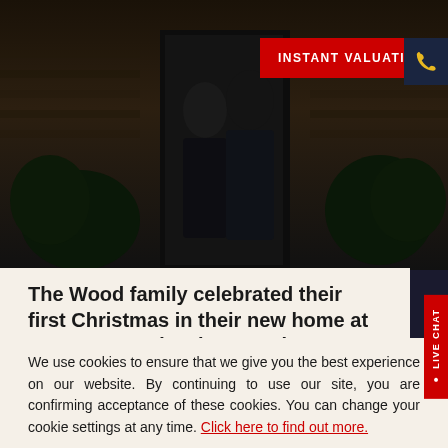[Figure (photo): Two people standing in front of a dark brick building entrance with plants, photo taken in low light. Red 'INSTANT VALUATION' button overlay in top right, plus a dark blue phone icon box.]
The Wood family celebrated their first Christmas in their new home at Trayne Farm development in Barnstaple and couldn't be
We use cookies to ensure that we give you the best experience on our website. By continuing to use our site, you are confirming acceptance of these cookies. You can change your cookie settings at any time. Click here to find out more.
GOT IT, THANKS
FREE VALUATION | BUY/RENT | SELL | LET | Menu